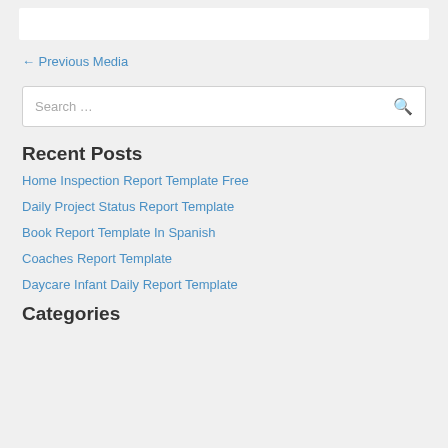← Previous Media
Search …
Recent Posts
Home Inspection Report Template Free
Daily Project Status Report Template
Book Report Template In Spanish
Coaches Report Template
Daycare Infant Daily Report Template
Categories